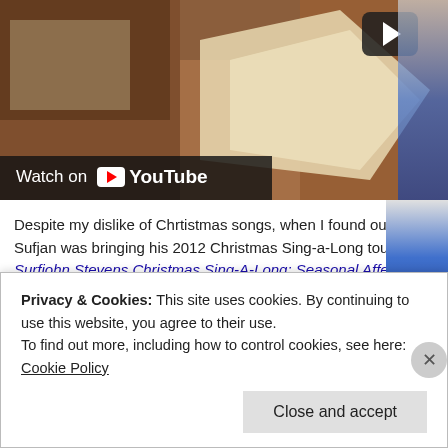[Figure (screenshot): YouTube video thumbnail showing hands folding paper, with 'Watch on YouTube' bar at bottom left and play button at top right]
Despite my dislike of Chrtistmas songs, when I found out that Sufjan was bringing his 2012 Christmas Sing-a-Long tour (the Surfjohn Stevens Christmas Sing-A-Long: Seasonal Affective Disorder Yuletide Disaster Pageant On Ice) through Portland's Aladdin Theater, I knew I needed to go.
His opener / tour co-hort is Sheila Saputo… the quirky comedic alter ego of singer-songwriter Rosie Thomas… see her trailer
Privacy & Cookies: This site uses cookies. By continuing to use this website, you agree to their use.
To find out more, including how to control cookies, see here: Cookie Policy
Close and accept